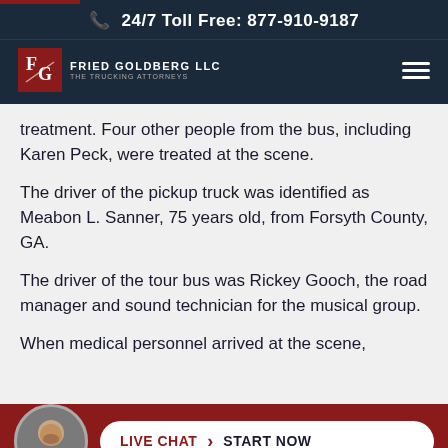24/7 Toll Free: 877-910-9187
[Figure (logo): Fried Goldberg LLC - The Trucking Attorneys logo with red FG monogram box]
treatment. Four other people from the bus, including Karen Peck, were treated at the scene.
The driver of the pickup truck was identified as Meabon L. Sanner, 75 years old, from Forsyth County, GA.
The driver of the tour bus was Rickey Gooch, the road manager and sound technician for the musical group.
When medical personnel arrived at the scene,
LIVE CHAT › START NOW